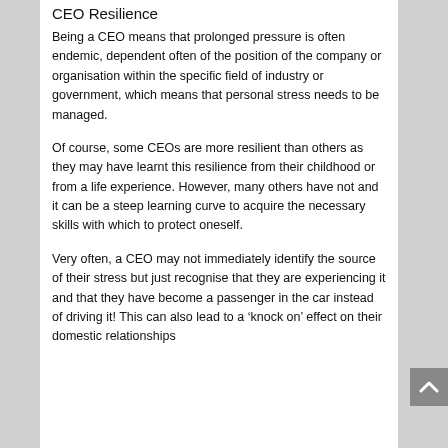CEO Resilience
Being a CEO means that prolonged pressure is often endemic, dependent often of the position of the company or organisation within the specific field of industry or government, which means that personal stress needs to be managed.
Of course, some CEOs are more resilient than others as they may have learnt this resilience from their childhood or from a life experience. However, many others have not and it can be a steep learning curve to acquire the necessary skills with which to protect oneself.
Very often, a CEO may not immediately identify the source of their stress but just recognise that they are experiencing it and that they have become a passenger in the car instead of driving it! This can also lead to a ‘knock on’ effect on their domestic relationships...